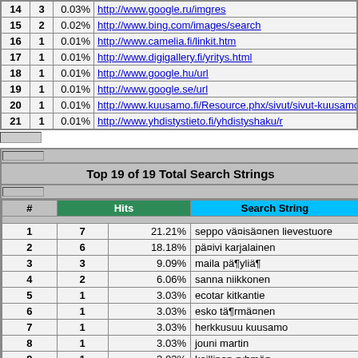| # | Hits | % | URL |
| --- | --- | --- | --- |
| 14 | 3 | 0.03% | http://www.google.ru/imgres |
| 15 | 2 | 0.02% | http://www.bing.com/images/search |
| 16 | 1 | 0.01% | http://www.camelia.fi/linkit.htm |
| 17 | 1 | 0.01% | http://www.digigallery.fi/yritys.html |
| 18 | 1 | 0.01% | http://www.google.hu/url |
| 19 | 1 | 0.01% | http://www.google.se/url |
| 20 | 1 | 0.01% | http://www.kuusamo.fi/Resource.phx/sivut/sivut-kuusamo/kirjasto/ku... |
| 21 | 1 | 0.01% | http://www.yhdistystieto.fi/yhdistyshaku/r |
| # | Hits | % | Search String |
| --- | --- | --- | --- |
| 1 | 7 | 21.21% | seppo väisänen lievestuore |
| 2 | 6 | 18.18% | päivi karjalainen |
| 3 | 3 | 9.09% | maila päyliä¶ |
| 4 | 2 | 6.06% | sanna niikkonen |
| 5 | 1 | 3.03% | ecotar kitkantie |
| 6 | 1 | 3.03% | esko tä¶rmänen |
| 7 | 1 | 3.03% | herkkusuu kuusamo |
| 8 | 1 | 3.03% | jouni martin |
| 9 | 1 | 3.03% | koillinen-ryhmä¤ |